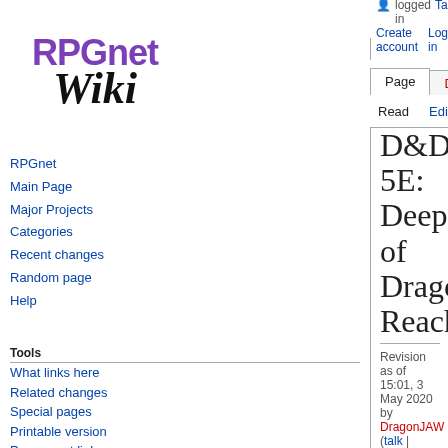Not logged in  Talk  Contributions  Create account  Log in
[Figure (logo): RPGnet Wiki logo with purple RPGnet text and black italic Wiki text]
RPGnet
Main Page
Major Projects
Categories
Recent changes
Random page
Help
Tools
What links here
Related changes
Special pages
Printable version
Permanent link
D&D 5E: Deeps of Dragon Reach
Revision as of 15:01, 3 May 2020 by DragonJAW (talk | contribs)
(diff) ← Older revision | Latest revision (diff) | Newer revision → (diff)
The Inner Isles of Dragon Reach
Out in the ocean to the west of the mainland is a long band of islands known as Dragon Reach. To the north and south the reach is mostly bare jagged rock and is indeed home to both magma and storm dragons (dragons in this setting are all technically elementals of some kind), but the inner islands of